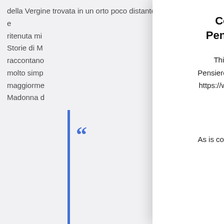della Vergine trovata in un orto poco distante e ritenuta mi... Storie di M... raccontano molto simp... maggiorme... Madonna d...
[Figure (other): Blue quotation mark icon with vertical blue bar on left side]
Cookie Policy for Pensierospensierato
This is the Cookie Policy for Pensierospensierato, accessible from https://www.pensierospensierato.net/
What Are Cookies
As is common practice with almost all